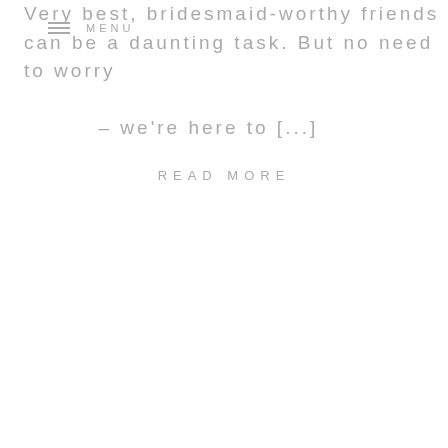MENU
Very best, bridesmaid-worthy friends can be a daunting task. But no need to worry – we're here to [...]
READ MORE